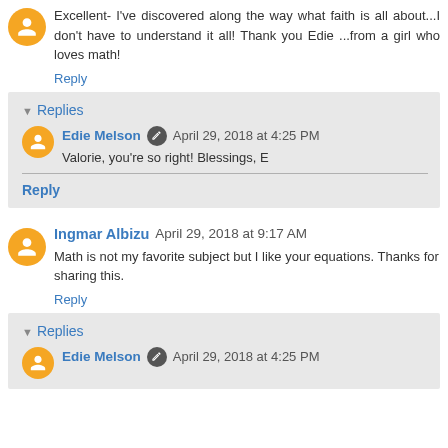Excellent- I've discovered along the way what faith is all about...I don't have to understand it all! Thank you Edie ...from a girl who loves math!
Reply
Replies
Edie Melson  April 29, 2018 at 4:25 PM
Valorie, you're so right! Blessings, E
Reply
Ingmar Albizu  April 29, 2018 at 9:17 AM
Math is not my favorite subject but I like your equations. Thanks for sharing this.
Reply
Replies
Edie Melson  April 29, 2018 at 4:25 PM